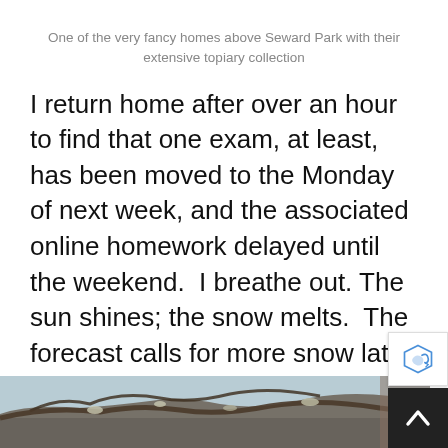One of the very fancy homes above Seward Park with their extensive topiary collection
I return home after over an hour to find that one exam, at least, has been moved to the Monday of next week, and the associated online homework delayed until the weekend. I breathe out. The sun shines; the snow melts. The forecast calls for more snow later this week but for now I can study without quite so much pressure and simply enjoy the view while it lasts.
[Figure (photo): Photo of tree branches with snow/lichen against a light blue sky and brown wall, partially visible at bottom of page]